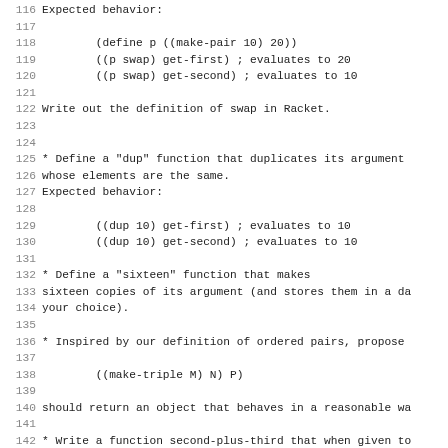116 Expected behavior:
117 
118     (define p ((make-pair 10) 20))
119     ((p swap) get-first) ; evaluates to 20
120     ((p swap) get-second) ; evaluates to 10
121 
122 Write out the definition of swap in Racket.
123 
124 
125 * Define a "dup" function that duplicates its argument
126 whose elements are the same.
127 Expected behavior:
128 
129     ((dup 10) get-first) ; evaluates to 10
130     ((dup 10) get-second) ; evaluates to 10
131 
132 * Define a "sixteen" function that makes
133 sixteen copies of its argument (and stores them in a da
134 your choice).
135 
136 * Inspired by our definition of ordered pairs, propose
137 
138         ((make-triple M) N) P)
139 
140 should return an object that behaves in a reasonable wa
141 
142 * Write a function second-plus-third that when given to
143 
144 You can help yourself to the following definition:
145 
146     (define add (lambda (x) (lambda (y) (+ x y))))
147